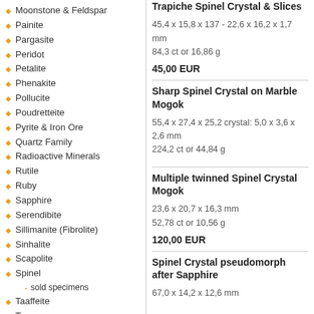Moonstone & Feldspar
Painite
Pargasite
Peridot
Petalite
Phenakite
Pollucite
Poudretteite
Pyrite & Iron Ore
Quartz Family
Radioactive Minerals
Rutile
Ruby
Sapphire
Serendibite
Sillimanite (Fibrolite)
Sinhalite
Scapolite
Spinel
sold specimens
Taaffeite
Topaz
Tourmaline
Zircon
Other Minerals
Crystal Collections
Crystals in Matrix
Trapiche Spinel Crystal & Slices
45,4 x 15,8 x 137 - 22,6 x 16,2 x 1,7 mm
84,3 ct or 16,86 g
45,00 EUR
Sharp Spinel Crystal on Marble Mogok
55,4 x 27,4 x 25,2 crystal: 5,0 x 3,6 x 2,6 mm
224,2 ct or 44,84 g
Multiple twinned Spinel Crystal Mogok
23,6 x 20,7 x 16,3 mm
52,78 ct or 10,56 g
120,00 EUR
Spinel Crystal pseudomorph after Sapphire
67,0 x 14,2 x 12,6 mm